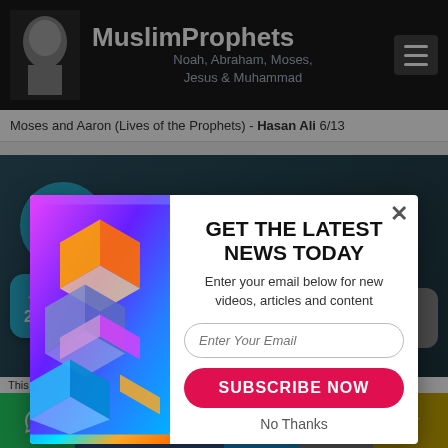MuslimProphets — Noah, Abraham, Moses, Jesus & Muhammad
Moses and Aaron (Lives of the Prophets) - Hasan Ali 6/13
[Figure (screenshot): Newsletter subscription modal popup overlay on a website. Left side has colorful geometric cube/diamond shapes in purple, blue, orange, pink. Right side has title 'GET THE LATEST NEWS TODAY', subtitle 'Enter your email below for new videos, articles and content', email input field, red 'SUBSCRIBE NOW' button, and 'No Thanks' link. Close X button in top right. A teal chat bubble in bottom left reads 'Chat with the other 2 visitors now' with an X close button.]
This on our webs — WhatsApp Facebook Like Twitter SMS SUMO